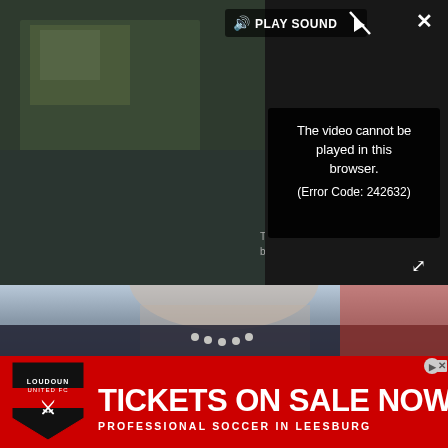[Figure (screenshot): Video player showing error message 'The video cannot be played in this browser. (Error Code: 242632)' with PLAY SOUND control bar and close/expand buttons on dark background with blurred video thumbnail]
[Figure (photo): Portrait photo of an older woman with grey upswept hair, smiling, wearing a dark jacket and pearl necklace, outdoors]
[Figure (infographic): Red advertisement banner: Loudoun United FC shield logo on left, large white text 'TICKETS ON SALE NOW', subtitle 'PROFESSIONAL SOCCER IN LEESBURG']